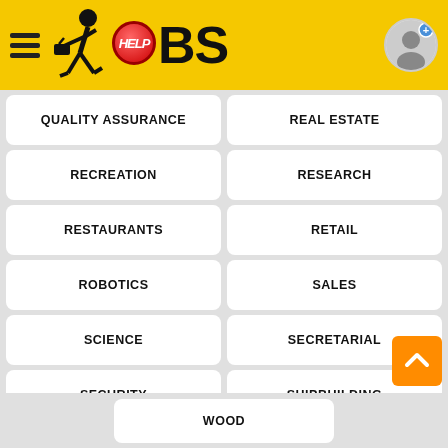[Figure (logo): HelpJobs app header with yellow background, hamburger menu, walking figure with briefcase logo, HELP button and JOBS text, and profile icon]
QUALITY ASSURANCE
REAL ESTATE
RECREATION
RESEARCH
RESTAURANTS
RETAIL
ROBOTICS
SALES
SCIENCE
SECRETARIAL
SECURITY
SHIPBUILDING
SOCIAL CARE
SPORTS
STEELS
TAX
TELECOMS
TEXTILE
TOURISM
TRAINING
TRANSLATIONS
TRANSPORTATION
TRAVEL
WHOLESALE
WOOD